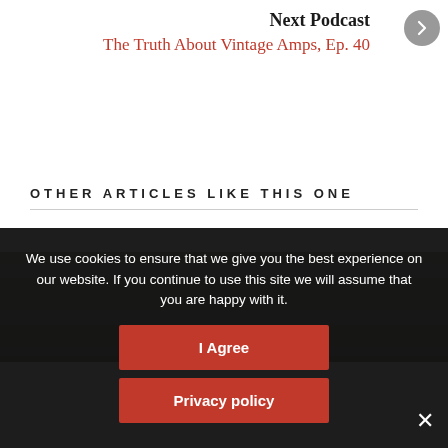Next Podcast
The Truth About Vintage Amps, Ep. 40
OTHER ARTICLES LIKE THIS ONE
[Figure (photo): Outdoor scene, partial article thumbnail image]
We use cookies to ensure that we give you the best experience on our website. If you continue to use this site we will assume that you are happy with it.
I Agree
Privacy policy